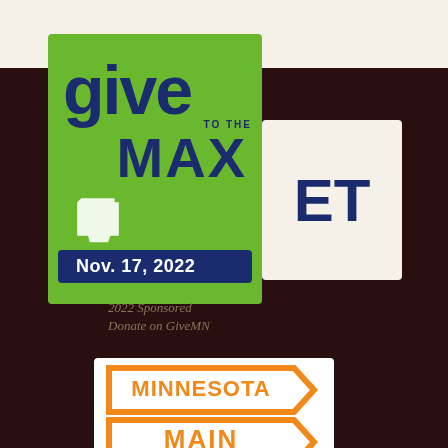[Figure (logo): Give to the MAX Day logo on green background with date Nov. 17, 2022]
2022 Sponsored
Donate on GiveMN
[Figure (logo): Minnesota Main Streets logo with orange street sign design]